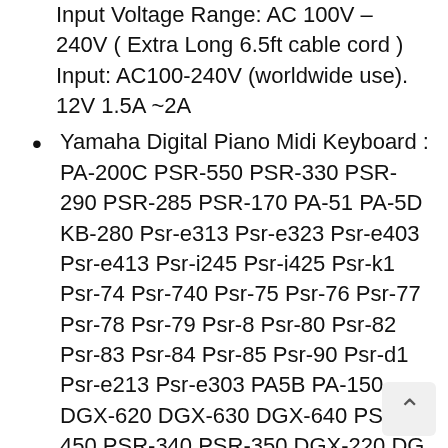Input Voltage Range: AC 100V – 240V ( Extra Long 6.5ft cable cord ) Input: AC100-240V (worldwide use). 12V 1.5A ~2A
Yamaha Digital Piano Midi Keyboard : PA-200C PSR-550 PSR-330 PSR-290 PSR-285 PSR-170 PA-51 PA-5D KB-280 Psr-e313 Psr-e323 Psr-e403 Psr-e413 Psr-i245 Psr-i425 Psr-k1 Psr-74 Psr-740 Psr-75 Psr-76 Psr-77 Psr-78 Psr-79 Psr-8 Psr-80 Psr-82 Psr-83 Psr-84 Psr-85 Psr-90 Psr-d1 Psr-e213 Psr-e303 PA5B PA-150 DGX-620 DGX-630 DGX-640 PSR-450 PSR-340 PSR-350 DGX-220 DG X-230 Cp33 Dgx-202 Dgx-203 Dgx-205 Dgx-220 Dgx-230 Dgx-300 Dgx-305 Dgx-500 Dgx-505 Dgx-520 Dgx-530 Dgx-620 Dgx-630 Djx-405 PA-150A P140
DGX-200 DGX200 DGX-202 DGX202 DGX-640 DGX640 ; PA-3 PA3 PA-3B PA3B PA-5 PA5 P 5D PA5D PA-6 PA6 PA150 PA5C PA-5C ; PSR PSR175 PSR-225GM PSR225GM PSR-262